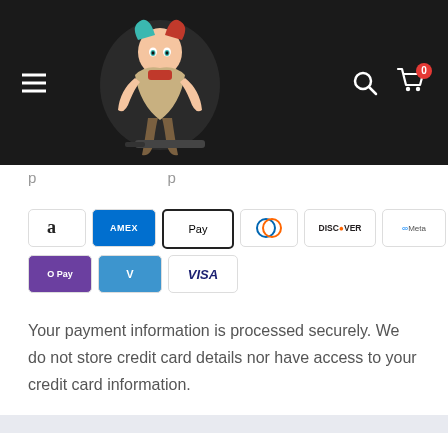[Figure (screenshot): E-commerce website header with dark background, hamburger menu icon on left, anime character logo/image in center-left, search icon and cart icon with badge showing 0 on right]
[Figure (infographic): Row of payment method icons: Amazon Pay, American Express, Apple Pay, Diners Club, Discover, Meta Pay, Google Pay, Mastercard, PayPal, OPay, Venmo, Visa]
Your payment information is processed securely. We do not store credit card details nor have access to your credit card information.
Estimate shipping
Country